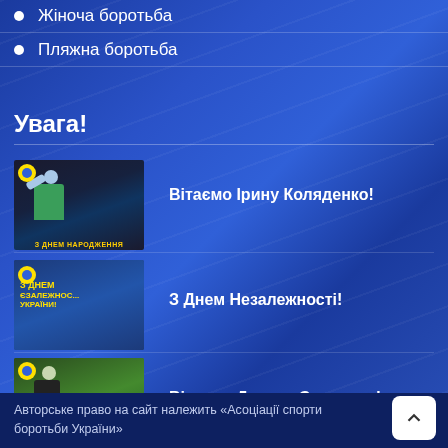Жіноча боротьба
Пляжна боротьба
Увага!
[Figure (photo): Thumbnail showing a person raising arm, birthday card style]
Вітаємо Ірину Коляденко!
[Figure (photo): Thumbnail with yellow and blue Ukrainian independence day text]
З Днем Незалежності!
[Figure (photo): Thumbnail showing a person outdoors, birthday card style]
Вітаємо Дениса Сагалюка!
Авторське право на сайт належить «Асоціації спорти боротьби України»